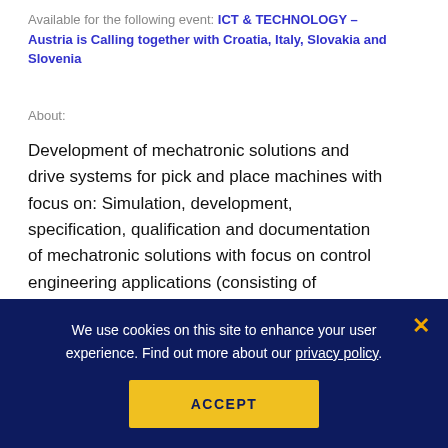Available for the following event: ICT & TECHNOLOGY – Austria is Calling together with Croatia, Italy, Slovakia and Slovenia
About:
Development of mechatronic solutions and drive systems for pick and place machines with focus on: Simulation, development, specification, qualification and documentation of mechatronic solutions with focus on control engineering applications (consisting of mechanical electronic, and software components) Close cooperation...
We use cookies on this site to enhance your user experience. Find out more about our privacy policy.